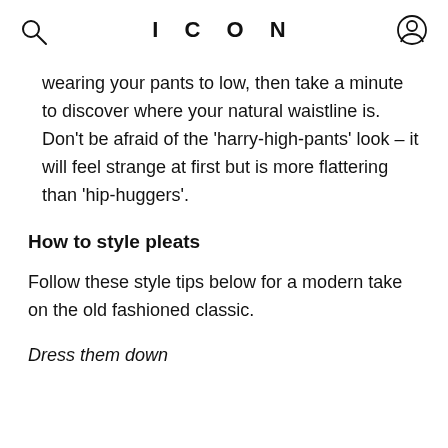ICON
wearing your pants to low, then take a minute to discover where your natural waistline is. Don’t be afraid of the ‘harry-high-pants’ look – it will feel strange at first but is more flattering than ‘hip-huggers’.
How to style pleats
Follow these style tips below for a modern take on the old fashioned classic.
Dress them down